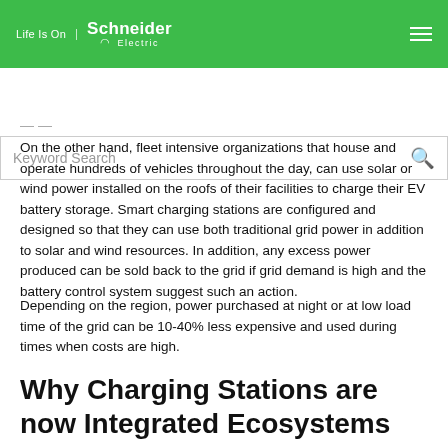Life Is On | Schneider Electric
Keyword Search
On the other hand, fleet intensive organizations that house and operate hundreds of vehicles throughout the day, can use solar or wind power installed on the roofs of their facilities to charge their EV battery storage. Smart charging stations are configured and designed so that they can use both traditional grid power in addition to solar and wind resources. In addition, any excess power produced can be sold back to the grid if grid demand is high and the battery control system suggest such an action.
Depending on the region, power purchased at night or at low load time of the grid can be 10-40% less expensive and used during times when costs are high.
Why Charging Stations are now Integrated Ecosystems